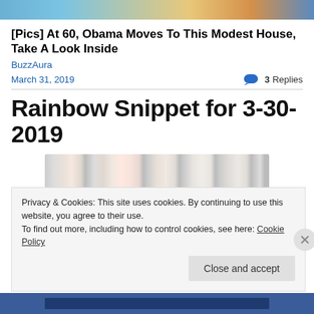[Figure (photo): Top banner image showing people and decorative elements]
[Pics] At 60, Obama Moves To This Modest House, Take A Look Inside
BuzzAura
March 31, 2019
3 Replies
Rainbow Snippet for 3-30-2019
[Figure (photo): Row of colorful book spines]
Privacy & Cookies: This site uses cookies. By continuing to use this website, you agree to their use.
To find out more, including how to control cookies, see here: Cookie Policy
Close and accept